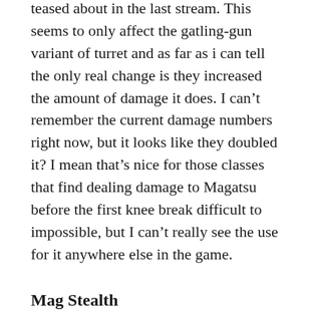teased about in the last stream. This seems to only affect the gatling-gun variant of turret and as far as i can tell the only real change is they increased the amount of damage it does. I can't remember the current damage numbers right now, but it looks like they doubled it? I mean that's nice for those classes that find dealing damage to Magatsu before the first knee break difficult to impossible, but I can't really see the use for it anywhere else in the game.
Mag Stealth
You'll be able to stealth your Mag by feeding it